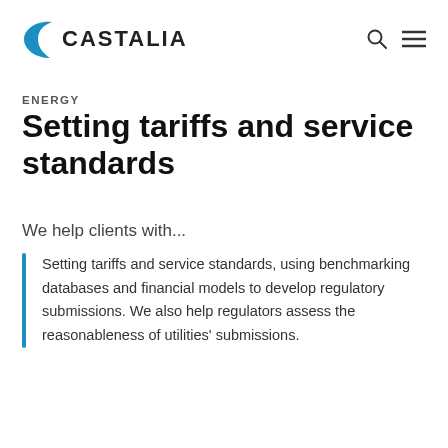CASTALIA
ENERGY
Setting tariffs and service standards
We help clients with...
Setting tariffs and service standards, using benchmarking databases and financial models to develop regulatory submissions. We also help regulators assess the reasonableness of utilities' submissions.